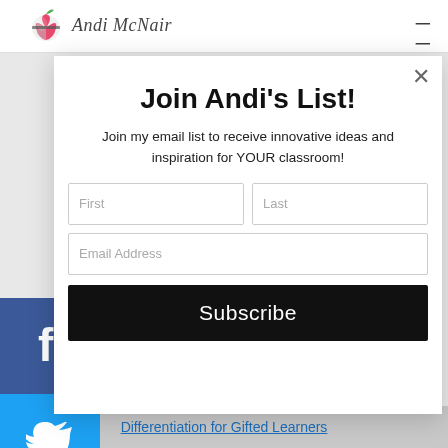Andi McNair
[Figure (screenshot): Email signup modal popup with title 'Join Andi's List!', description text, First/Last name fields, Email Address field, and Subscribe button]
Join Andi's List!
Join my email list to receive innovative ideas and inspiration for YOUR classroom!
Differentiation for Gifted Learners